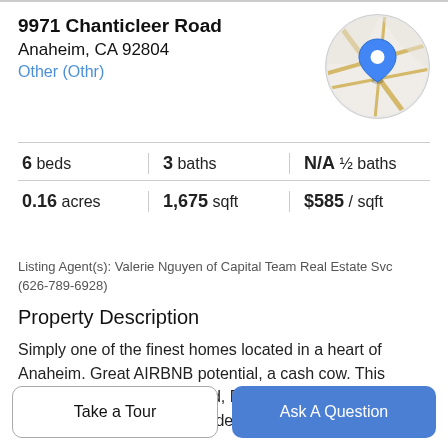9971 Chanticleer Road
Anaheim, CA 92804
Other (Othr)
[Figure (map): Circular map thumbnail showing street map with a blue location pin marker]
| beds | baths | ½ baths |
| --- | --- | --- |
| 6 beds | 3 baths | N/A ½ baths |
| 0.16 acres | 1,675 sqft | $585 / sqft |
Listing Agent(s): Valerie Nguyen of Capital Team Real Estate Svc (626-789-6928)
Property Description
Simply one of the finest homes located in a heart of Anaheim. Great AIRBNB potential, a cash cow. This beautiful home was Modified, Remodeled, Extended and Extensively Upgraded. It is ideal for families who need